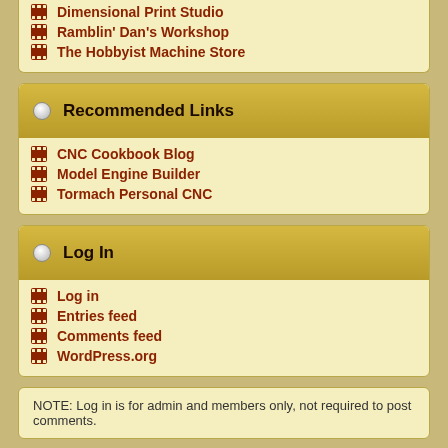Dimensional Print Studio
Ramblin' Dan's Workshop
The Hobbyist Machine Store
Recommended Links
CNC Cookbook Blog
Model Engine Builder
Tormach Personal CNC
Log In
Log in
Entries feed
Comments feed
WordPress.org
NOTE: Log in is for admin and members only, not required to post comments.
102 spam